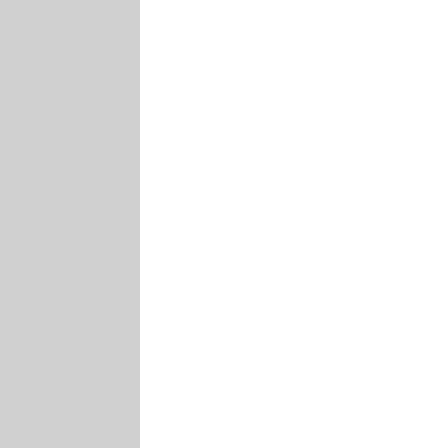COMPA A CURRE HAVE A RACE CAR GARAG AND TEAM WHICH WE COMPE IN SEVER OPPOS RACING PROGR WHERE WE ARE SPONS BY LARGE AUTO PARTS